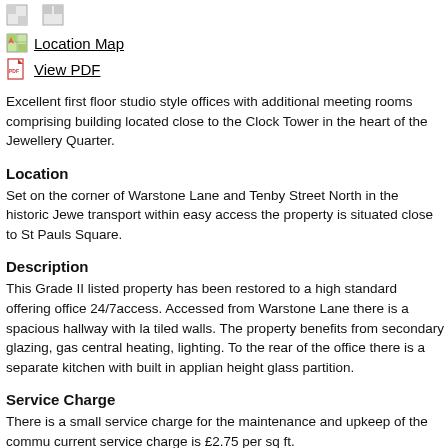[Figure (other): Two small icon buttons at top (map and another icon)]
Location Map
View PDF
Excellent first floor studio style offices with additional meeting rooms comprising building located close to the Clock Tower in the heart of the Jewellery Quarter.
Location
Set on the corner of Warstone Lane and Tenby Street North in the historic Jewe transport within easy access the property is situated close to St Pauls Square.
Description
This Grade II listed property has been restored to a high standard offering office 24/7access. Accessed from Warstone Lane there is a spacious hallway with la tiled walls. The property benefits from secondary glazing, gas central heating, lighting. To the rear of the office there is a separate kitchen with built in applian height glass partition.
Service Charge
There is a small service charge for the maintenance and upkeep of the commu current service charge is £2.75 per sq ft.
Business Rates